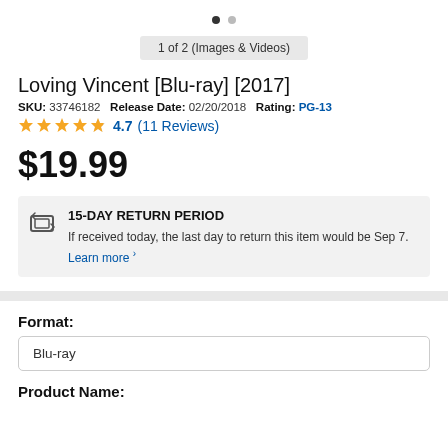[Figure (other): Pagination dots: one filled black dot and one gray dot]
1 of 2 (Images & Videos)
Loving Vincent [Blu-ray] [2017]
SKU: 33746182  Release Date: 02/20/2018  Rating: PG-13
4.7 (11 Reviews)
$19.99
15-DAY RETURN PERIOD
If received today, the last day to return this item would be Sep 7.
Learn more
Format:
Blu-ray
Product Name: